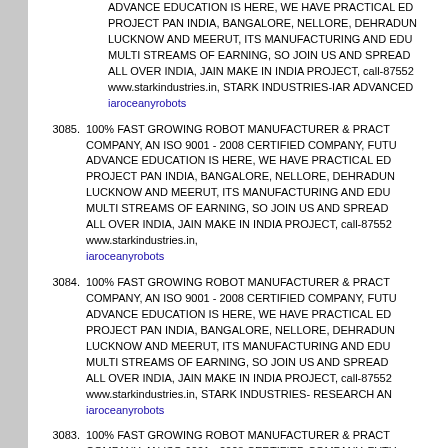(continuation) ADVANCE EDUCATION IS HERE, WE HAVE PRACTICAL EDU PROJECT PAN INDIA, BANGALORE, NELLORE, DEHRADUN LUCKNOW AND MEERUT, ITS MANUFACTURING AND EDU MULTI STREAMS OF EARNING, SO JOIN US AND SPREAD ALL OVER INDIA, JAIN MAKE IN INDIA PROJECT, call-87552 www.starkindustries.in, STARK INDUSTRIES-IAR ADVANCED iaroceanyrobots
3085. 100% FAST GROWING ROBOT MANUFACTURER & PRACT COMPANY, AN ISO 9001 - 2008 CERTIFIED COMPANY, FUTU ADVANCE EDUCATION IS HERE, WE HAVE PRACTICAL EDU PROJECT PAN INDIA, BANGALORE, NELLORE, DEHRADUN LUCKNOW AND MEERUT, ITS MANUFACTURING AND EDU MULTI STREAMS OF EARNING, SO JOIN US AND SPREAD ALL OVER INDIA, JAIN MAKE IN INDIA PROJECT, call-87552 www.starkindustries.in, iaroceanyrobots
3084. 100% FAST GROWING ROBOT MANUFACTURER & PRACT COMPANY, AN ISO 9001 - 2008 CERTIFIED COMPANY, FUTU ADVANCE EDUCATION IS HERE, WE HAVE PRACTICAL EDU PROJECT PAN INDIA, BANGALORE, NELLORE, DEHRADUN LUCKNOW AND MEERUT, ITS MANUFACTURING AND EDU MULTI STREAMS OF EARNING, SO JOIN US AND SPREAD ALL OVER INDIA, JAIN MAKE IN INDIA PROJECT, call-87552 www.starkindustries.in, STARK INDUSTRIES- RESEARCH AN iaroceanyrobots
3083. 100% FAST GROWING ROBOT MANUFACTURER & PRACT COMPANY, AN ISO 9001 - 2008 CERTIFIED COMPANY, FUTU ADVANCE EDUCATION IS HERE, WE HAVE PRACTICAL EDU PROJECT PAN INDIA, BANGALORE, NELLORE, DEHRADUN LUCKNOW AND MEERUT, ITS MANUFACTURING AND EDU...